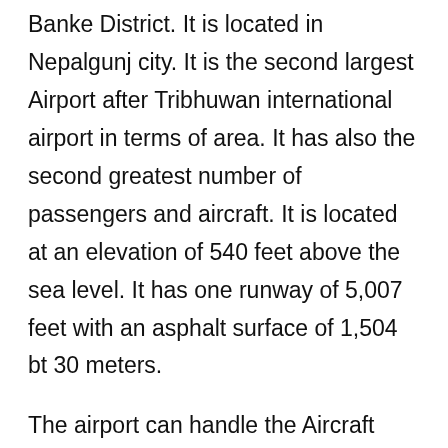Banke District. It is located in Nepalgunj city. It is the second largest Airport after Tribhuwan international airport in terms of area. It has also the second greatest number of passengers and aircraft. It is located at an elevation of 540 feet above the sea level. It has one runway of 5,007 feet with an asphalt surface of 1,504 bt 30 meters.
The airport can handle the Aircraft from Nepalsese Army air service. It has started